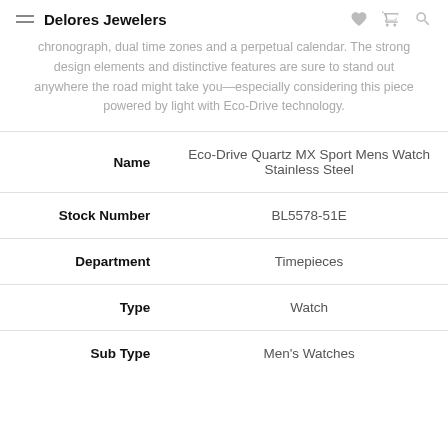Delores Jewelers
chronograph, dual time zones and a perpetual calendar. The strong design elements and distinctive features are sure to stand out anywhere the road might take you—especially considering this piece powered by light with Eco-Drive technology.
| Field | Value |
| --- | --- |
| Name | Eco-Drive Quartz MX Sport Mens Watch Stainless Steel |
| Stock Number | BL5578-51E |
| Department | Timepieces |
| Type | Watch |
| Sub Type | Men's Watches |